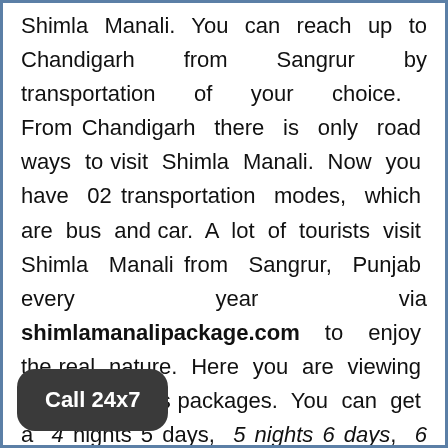Shimla Manali. You can reach up to Chandigarh from Sangrur by transportation of your choice. From Chandigarh there is only road ways to visit Shimla Manali. Now you have 02 transportation modes, which are bus and car. A lot of tourists visit Shimla Manali from Sangrur, Punjab every year via shimlamanalipackage.com to enjoy the real nature. Here you are viewing 8 nights 9 days packages. You can get a 4 nights 5 days, 5 nights 6 days, 6 nights
Call 24x7